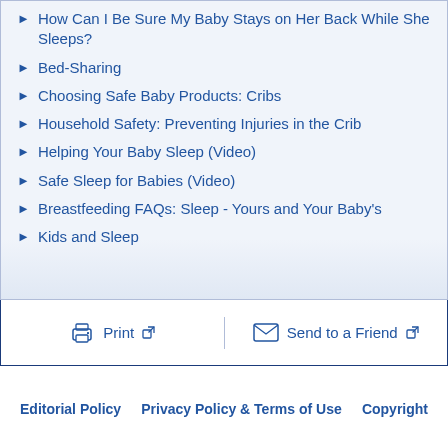How Can I Be Sure My Baby Stays on Her Back While She Sleeps?
Bed-Sharing
Choosing Safe Baby Products: Cribs
Household Safety: Preventing Injuries in the Crib
Helping Your Baby Sleep (Video)
Safe Sleep for Babies (Video)
Breastfeeding FAQs: Sleep - Yours and Your Baby's
Kids and Sleep
Print   Send to a Friend
Editorial Policy   Privacy Policy & Terms of Use   Copyright